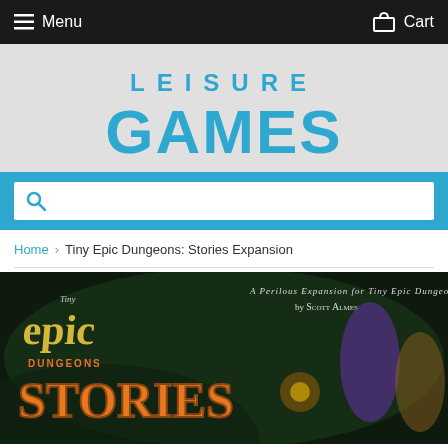Menu  Cart
[Figure (logo): Leisure Games logo in blue text on grey background]
Search bar with magnifying glass icon
Home › Tiny Epic Dungeons: Stories Expansion
[Figure (photo): Tiny Epic Dungeons Stories Expansion box art — A Perilous Expansion for Tiny Epic Dungeons by Scott Almes]